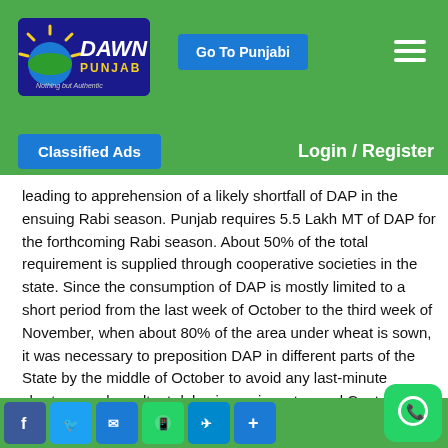[Figure (logo): Dawn Punjab logo - blue rectangle with sun graphic, text DAWN PUNJAB, tagline Nothing but Authentic]
[Figure (screenshot): Go To Punjabi button - blue rounded rectangle]
[Figure (screenshot): Hamburger menu icon - three white horizontal lines]
[Figure (screenshot): Classified Ads blue button]
Login / Register
leading to apprehension of a likely shortfall of DAP in the ensuing Rabi season. Punjab requires 5.5 Lakh MT of DAP for the forthcoming Rabi season. About 50% of the total requirement is supplied through cooperative societies in the state. Since the consumption of DAP is mostly limited to a short period from the last week of October to the third week of November, when about 80% of the area under wheat is sown, it was necessary to preposition DAP in different parts of the State by the middle of October to avoid any last-minute shortage and resultant delay in sowing, stressed Captain Amarinder.
[Figure (screenshot): Social media icons row: Facebook, Twitter, Email, WhatsApp, Telegram, Plus; and large WhatsApp floating button at bottom right]